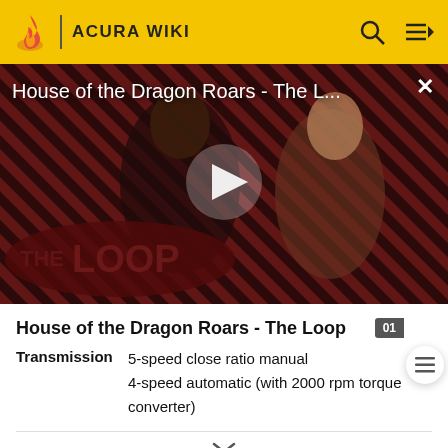ACURA WIKI
[Figure (screenshot): Video thumbnail showing House of the Dragon characters with diagonal striped background and THE LOOP badge overlay, with play button]
House of the Dragon Roars - The Loop
Transmission  5-speed close ratio manual
4-speed automatic (with 2000 rpm torque converter)